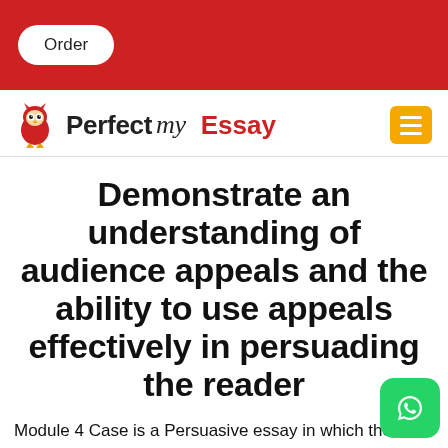Order
Perfect my Essay
Demonstrate an understanding of audience appeals and the ability to use appeals effectively in persuading the reader
Module 4 Case is a Persuasive essay in which the writer encourages the reader to give in some way to a worthy cause. The writer must first select a licensed not-for-profit organization with a web presence before